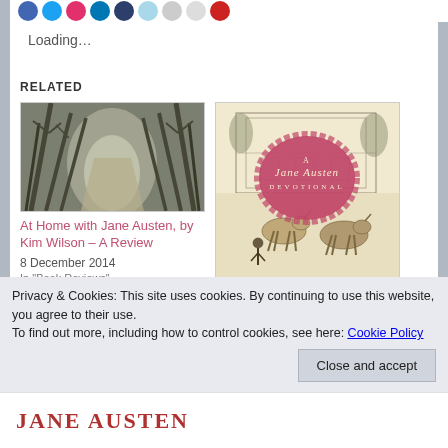[Figure (illustration): Row of colored social sharing circle icons at top]
Loading...
RELATED
[Figure (photo): Dark misty forest path with bare trees]
At Home with Jane Austen, by Kim Wilson – A Review
8 December 2014
In "Book Reviews"
[Figure (illustration): A Jane Austen Devotional book cover with pink decorative badge over vintage engraving]
A Jane Austen Devotional – by Staff
Privacy & Cookies: This site uses cookies. By continuing to use this website, you agree to their use.
To find out more, including how to control cookies, see here: Cookie Policy
Close and accept
JANE AUSTEN